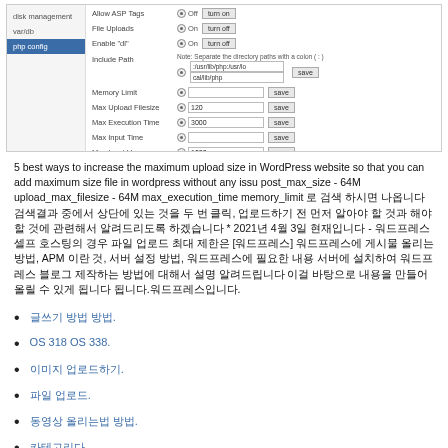[Figure (screenshot): Screenshot of a web hosting control panel showing PHP configuration settings. Left sidebar has navigation items including 'disk management', 'var/db', and 'php config' (highlighted in blue). Main panel shows rows: Allow ASP Tags (Off, turn on button), File Uploads (On, turn off button), Enable 'dl' (On, turn off button), Include Path (with directory paths input and save button), Memory Limit (save button), Max Upload Filesize (120, save button), Max Execution Time (3000, save button), Max Input Time (save button), Max Input Vars (1000, save button).]
5 best ways to increase the maximum upload size in WordPress website so that you can add maximum size file in wordpress without any issu post_max_size - 64M upload_max_filesize - 64M max_execution_time memory_limit 로 검색 하시면 나옵니다 검색결과 중에서 상단에 있는 것을 두 번 클릭, 업로드하기 전 먼저 알아야 할 것과 해야 할 것에 관련해서 알려드리도록 하겠습니다 * 2021년 4월 3일 현재입니다 - 워드프레스 셀프 호스팅의 경우 파일 업로드 최대 제한은 [워드프레스] 워드프레스에 게시물 올리는 방법, APM 이란 것, 서버 설정 방법, 워드프레스에 필요한 내용 서버에 설치하여 워드프레스 블로그 제작하는 방법에 대해서 설명 알려드립니다 이걸 바탕으로 내용을 만들어 올릴 수 있게 됩니다 됩니다.워드프레스입니다.
글쓰기 방법 방법.
OS 318 OS 338.
이미지 업로드하기.
파일 업로드.
동영상 올리는법 방법.
카테고리다.
글쓰기 설정 방법.
에디터 워드프레스 방법.